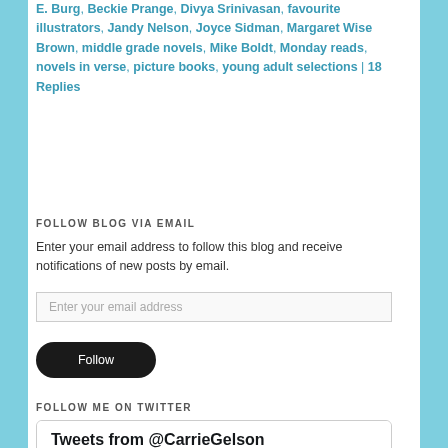E. Burg, Beckie Prange, Divya Srinivasan, favourite illustrators, Jandy Nelson, Joyce Sidman, Margaret Wise Brown, middle grade novels, Mike Boldt, Monday reads, novels in verse, picture books, young adult selections | 18 Replies
FOLLOW BLOG VIA EMAIL
Enter your email address to follow this blog and receive notifications of new posts by email.
Enter your email address
Follow
FOLLOW ME ON TWITTER
[Figure (screenshot): Twitter widget showing 'Tweets from @CarrieGelson' with a tweet row showing Carrie Gelson's avatar and name with Twitter bird icon]